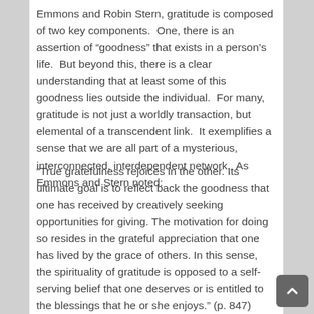Emmons and Robin Stern, gratitude is composed of two key components.  One, there is an assertion of “goodness” that exists in a person’s life.  But beyond this, there is a clear understanding that at least some of this goodness lies outside the individual.  For many, gratitude is not just a worldly transaction, but elemental of a transcendent link.  It exemplifies a sense that we are all part of a mysterious, interconnected, interdependent network.  As Emmons and Stern noted:
“True gratefulness rejoices in the other. Its ultimate goal is to reflect back the goodness that one has received by creatively seeking opportunities for giving. The motivation for doing so resides in the grateful appreciation that one has lived by the grace of others. In this sense, the spirituality of gratitude is opposed to a self-serving belief that one deserves or is entitled to the blessings that he or she enjoys.” (p. 847)